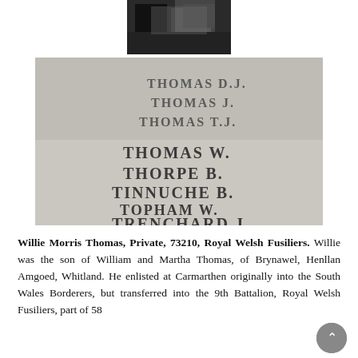[Figure (photo): Black and white partial photograph at top of page, partially visible, appears to show a person or outdoor scene]
[Figure (photo): Photograph of a stone war memorial panel with names carved in capital letters: THOMAS D.J., THOMAS J., THOMAS T.J., THOMAS W., THORPE B., TINNUCHE B., TOPHAM W., TRENCHARD J.]
Willie Morris Thomas, Private, 73210, Royal Welsh Fusiliers. Willie was the son of William and Martha Thomas, of Brynawel, Henllan Amgoed, Whitland. He enlisted at Carmarthen originally into the South Wales Borderers, but transferred into the 9th Battalion, Royal Welsh Fusiliers, part of 58